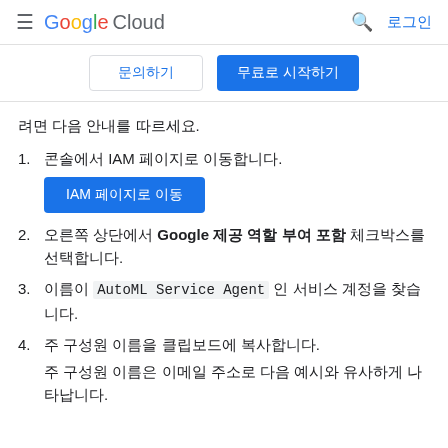Google Cloud  로그인
문의하기  무료로 시작하기
려면 다음 안내를 따르세요.
1. 콘솔에서 IAM 페이지로 이동합니다.
[Figure (screenshot): Blue button labeled 'IAM 페이지로 이동']
2. 오른쪽 상단에서 Google 제공 역할 부여 포함 체크박스를 선택합니다.
3. 이름이 AutoML Service Agent 인 서비스 계정을 찾습니다.
4. 주 구성원 이름을 클립보드에 복사합니다.
주 구성원 이름은 이메일 주소로 다음 예시와 유사하게 나타납니다.